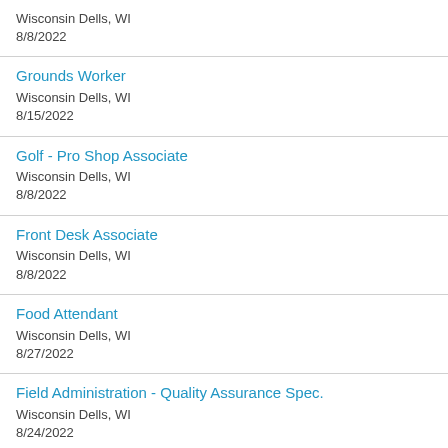Wisconsin Dells, WI
8/8/2022
Grounds Worker
Wisconsin Dells, WI
8/15/2022
Golf - Pro Shop Associate
Wisconsin Dells, WI
8/8/2022
Front Desk Associate
Wisconsin Dells, WI
8/8/2022
Food Attendant
Wisconsin Dells, WI
8/27/2022
Field Administration - Quality Assurance Spec.
Wisconsin Dells, WI
8/24/2022